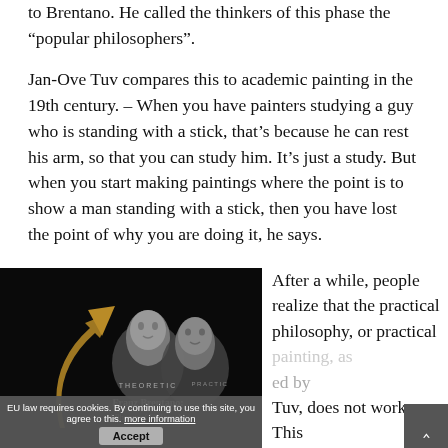to Brentano. He called the thinkers of this phase the “popular philosophers”.
Jan-Ove Tuv compares this to academic painting in the 19th century. – When you have painters studying a guy who is standing with a stick, that’s because he can rest his arm, so that you can study him. It’s just a study. But when you start making paintings where the point is to show a man standing with a stick, then you have lost the point of why you are doing it, he says.
[Figure (screenshot): Dark-themed thumbnail image with two stone busts and a golden arrow on a black background. Text reads 'Franz Brentano: 4 Phases of Philosophy' with branding overlays 'THEORETIC' and 'PRACTIC'. A cookie consent bar overlays the bottom: 'EU law requires cookies. By continuing to use this site, you agree to this. more information [Accept]']
After a while, people realize that the practical philosophy, or practical painting, as painted by Tuv, does not work. This